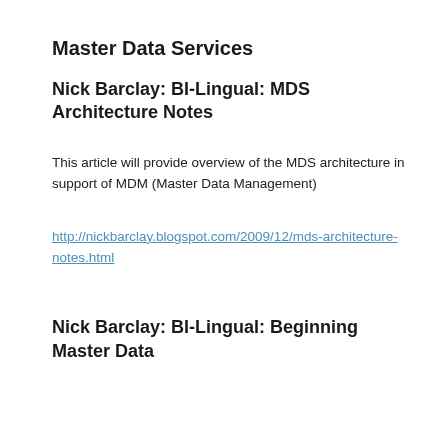Master Data Services
Nick Barclay: BI-Lingual: MDS Architecture Notes
This article will provide overview of the MDS architecture in support of MDM (Master Data Management)
http://nickbarclay.blogspot.com/2009/12/mds-architecture-notes.html
Nick Barclay: BI-Lingual: Beginning Master Data